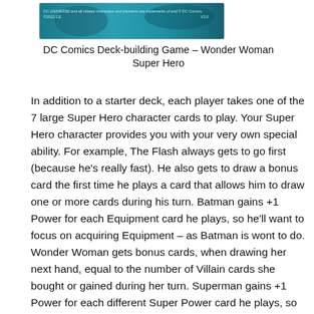[Figure (screenshot): Card image thumbnail showing a DC Comics card with teal/blue background and copyright text reading 'DC UNIVERSE and all related characters and elements are trademarks of and © DC Comics. ©2012 CE V2.0']
DC Comics Deck-building Game – Wonder Woman Super Hero
In addition to a starter deck, each player takes one of the 7 large Super Hero character cards to play. Your Super Hero character provides you with your very own special ability. For example, The Flash always gets to go first (because he's really fast). He also gets to draw a bonus card the first time he plays a card that allows him to draw one or more cards during his turn. Batman gains +1 Power for each Equipment card he plays, so he'll want to focus on acquiring Equipment – as Batman is wont to do. Wonder Woman gets bonus cards, when drawing her next hand, equal to the number of Villain cards she bought or gained during her turn. Superman gains +1 Power for each different Super Power card he plays, so by focusing on Super Power cards, he can